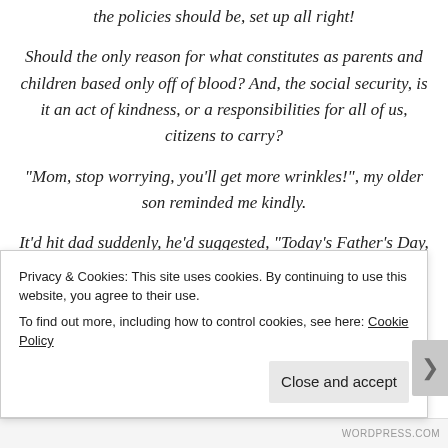the policies should be, set up all right!
Should the only reason for what constitutes as parents and children based only off of blood? And, the social security, is it an act of kindness, or a responsibilities for all of us, citizens to carry?
“Mom, stop worrying, you’ll get more wrinkles!”, my older son reminded me kindly.
It’d hit dad suddenly, he’d suggested, “Today’s Father’s Day, let’s go offer incense to both your grandfathers, and tell them we’re all very happy together.”
Privacy & Cookies: This site uses cookies. By continuing to use this website, you agree to their use. To find out more, including how to control cookies, see here: Cookie Policy